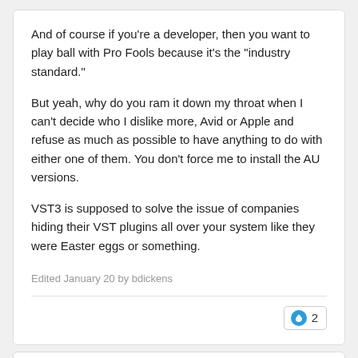And of course if you're a developer, then you want to play ball with Pro Fools because it's the "industry standard."
But yeah, why do you ram it down my throat when I can't decide who I dislike more, Avid or Apple and refuse as much as possible to have anything to do with either one of them. You don't force me to install the AU versions.
VST3 is supposed to solve the issue of companies hiding their VST plugins all over your system like they were Easter eggs or something.
Edited January 20 by bdickens